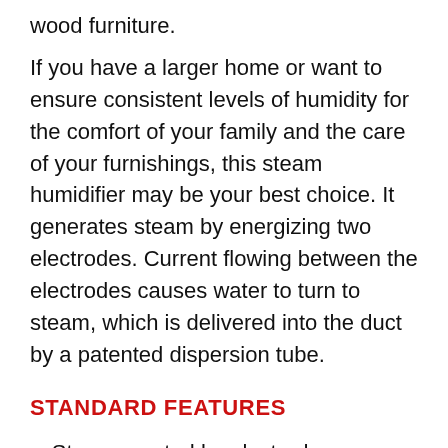wood furniture.
If you have a larger home or want to ensure consistent levels of humidity for the comfort of your family and the care of your furnishings, this steam humidifier may be your best choice. It generates steam by energizing two electrodes. Current flowing between the electrodes causes water to turn to steam, which is delivered into the duct by a patented dispersion tube.
STANDARD FEATURES
Steam created by electrodes